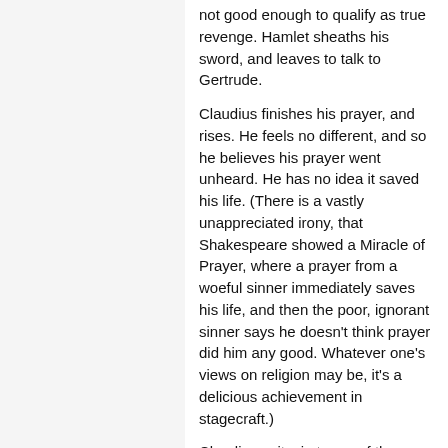not good enough to qualify as true revenge. Hamlet sheaths his sword, and leaves to talk to Gertrude.
Claudius finishes his prayer, and rises. He feels no different, and so he believes his prayer went unheard. He has no idea it saved his life. (There is a vastly unappreciated irony, that Shakespeare showed a Miracle of Prayer, where a prayer from a woeful sinner immediately saves his life, and then the poor, ignorant sinner says he doesn't think prayer did him any good. Whatever one's views on religion may be, it's a delicious achievement in stagecraft.)
Claudius exits, in terms of the playscript, as the Scene ends. In silent action, he goes to his desk, to finish the paperwork for the diplomatic mission to England.
Interscene 10 - 11: Polonius has gone to Gertrude's room, preparing to eavesdrop on Hamlet's conversation with her.